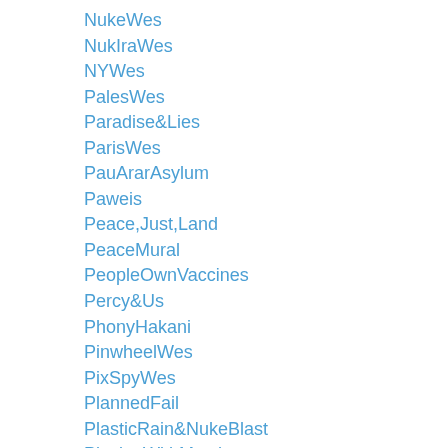NukeWes
NukIraWes
NYWes
PalesWes
Paradise&Lies
ParisWes
PauArarAsylum
Paweis
Peace,Just,Land
PeaceMural
PeopleOwnVaccines
Percy&Us
PhonyHakani
PinwheelWes
PixSpyWes
PlannedFail
PlasticRain&NukeBlast
PlayingWithMatches
PocketofSunflowers
Pollution&Genocide